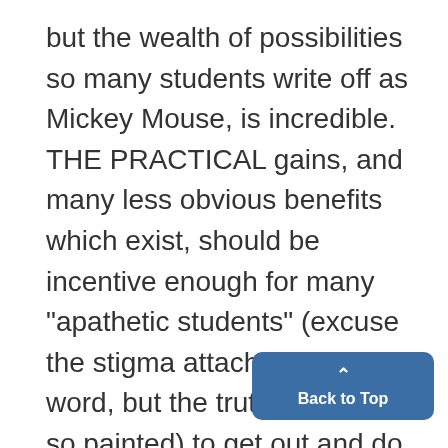but the wealth of possibilities so many students write off as Mickey Mouse, is incredible. THE PRACTICAL gains, and many less obvious benefits which exist, should be incentive enough for many "apathetic students" (excuse the stigma attached to this word, but the truth should be so painted) to get out and do something' worthy of their tal- posers, Professors Leslie Basse and Roberta Gerhard, will be pr